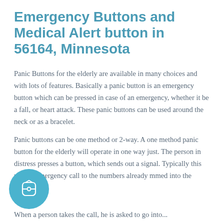Emergency Buttons and Medical Alert button in 56164, Minnesota
Panic Buttons for the elderly are available in many choices and with lots of features. Basically a panic button is an emergency button which can be pressed in case of an emergency, whether it be a fall, or heart attack. These panic buttons can be used around the neck or as a bracelet.
Panic buttons can be one method or 2-way. A one method panic button for the elderly will operate in one way just. The person in distress presses a button, which sends out a signal. Typically this will an emergency call to the numbers already mmed into the system.
When a person takes the call, he is asked to go into...